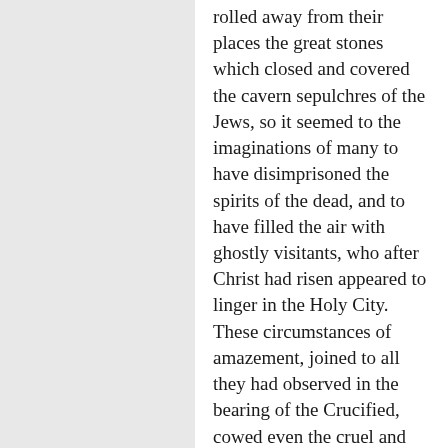rolled away from their places the great stones which closed and covered the cavern sepulchres of the Jews, so it seemed to the imaginations of many to have disimprisoned the spirits of the dead, and to have filled the air with ghostly visitants, who after Christ had risen appeared to linger in the Holy City. These circumstances of amazement, joined to all they had observed in the bearing of the Crucified, cowed even the cruel and gay indifference of the Roman soldiers. On the centurion who was in command of them the whole scene had exercised a yet deeper influence. As he stood opposite to the cross and saw the Saviour die, he glorified God and exclaimed, "This Man was in truth righteous"—nay, more, "This Man was